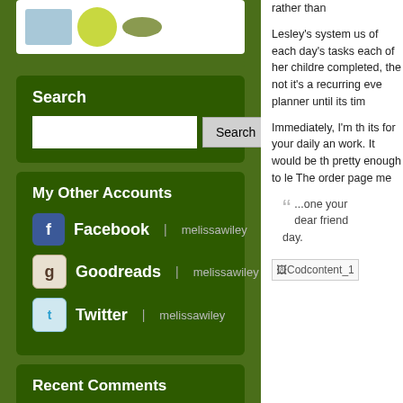[Figure (illustration): Small colored circular/oval shapes on white background - blue, green, and olive colored]
Search
[Figure (screenshot): Search input field with Search button]
My Other Accounts
Facebook | melissawiley
Goodreads | melissawiley
Twitter | melissawiley
Recent Comments
Fe2h2o.wordpress.com: Ive _finally_ read all the Martha and Charlotte... more
rather than
Lesley's system us of each day's tasks each of her childre completed, the not it's a recurring eve planner until its tim
Immediately, I'm th its for your daily an work. It would be th pretty enough to le The order page me
...one your dear friend day.
[Figure (illustration): Codcontent_1 broken image placeholder]